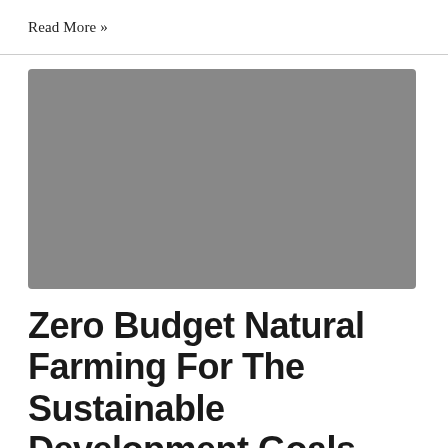Read More »
[Figure (photo): Grey placeholder image for article thumbnail]
Zero Budget Natural Farming For The Sustainable Development Goals